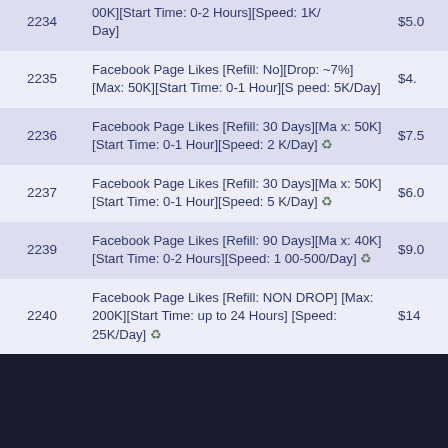| ID | Description | Price |
| --- | --- | --- |
| 2234 | 00K][Start Time: 0-2 Hours][Speed: 1K/Day] | $5.0 |
| 2235 | Facebook Page Likes [Refill: No][Drop: ~7%][Max: 50K][Start Time: 0-1 Hour][Speed: 5K/Day] | $4. |
| 2236 | Facebook Page Likes [Refill: 30 Days][Max: 50K][Start Time: 0-1 Hour][Speed: 2K/Day] ♻ | $7.5 |
| 2237 | Facebook Page Likes [Refill: 30 Days][Max: 50K][Start Time: 0-1 Hour][Speed: 5K/Day] ♻ | $6.0 |
| 2239 | Facebook Page Likes [Refill: 90 Days][Max: 40K][Start Time: 0-2 Hours][Speed: 100-500/Day] ♻ | $9.0 |
| 2240 | Facebook Page Likes [Refill: NON DROP][Max: 200K][Start Time: up to 24 Hours][Speed: 25K/Day] ♻ | $14 |